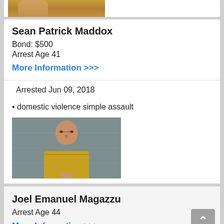[Figure (photo): Partial mugshot photo at top of page, cropped]
Sean Patrick Maddox
Bond: $500
Arrest Age 41
More Information >>>
Arrested Jun 09, 2018
domestic violence simple assault
[Figure (photo): Mugshot photo of male in yellow shirt against gray wall]
Joel Emanuel Magazzu
Arrest Age 44
More Information >>>